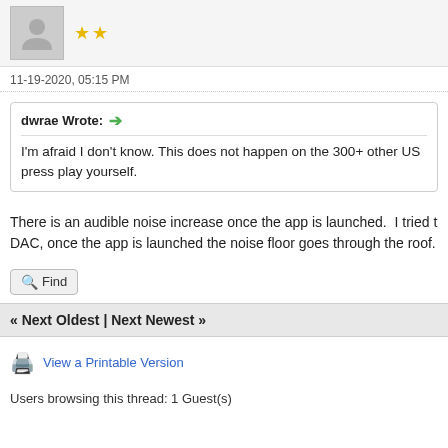[Figure (illustration): User avatar placeholder (grey silhouette) with two gold star rating icons]
11-19-2020, 05:15 PM
dwrae Wrote: → I'm afraid I don't know. This does not happen on the 300+ other US press play yourself.
There is an audible noise increase once the app is launched.  I tried t DAC, once the app is launched the noise floor goes through the roof.
Find
« Next Oldest | Next Newest »
View a Printable Version
Users browsing this thread: 1 Guest(s)